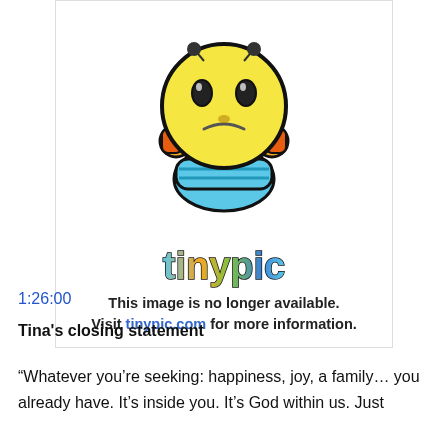[Figure (illustration): Tinypic 'image no longer available' placeholder box showing a sad yellow emoji mascot with orange ears and blue body above the colorful 'tinypic' logo text, with the message 'This image is no longer available. Visit tinypic.com for more information.']
1:26:00
Tina's closing statement
“Whatever you’re seeking: happiness, joy, a family… you already have. It’s inside you. It’s God within us. Just